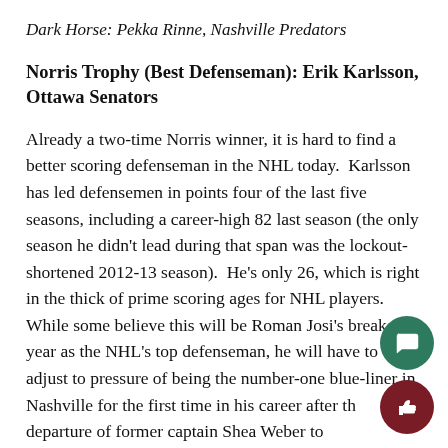Dark Horse: Pekka Rinne, Nashville Predators
Norris Trophy (Best Defenseman): Erik Karlsson, Ottawa Senators
Already a two-time Norris winner, it is hard to find a better scoring defenseman in the NHL today.  Karlsson has led defensemen in points four of the last five seasons, including a career-high 82 last season (the only season he didn't lead during that span was the lockout-shortened 2012-13 season).  He's only 26, which is right in the thick of prime scoring ages for NHL players.  While some believe this will be Roman Josi's breakout year as the NHL's top defenseman, he will have to adjust to pressure of being the number-one blue-liner in Nashville for the first time in his career after the departure of former captain Shea Weber to